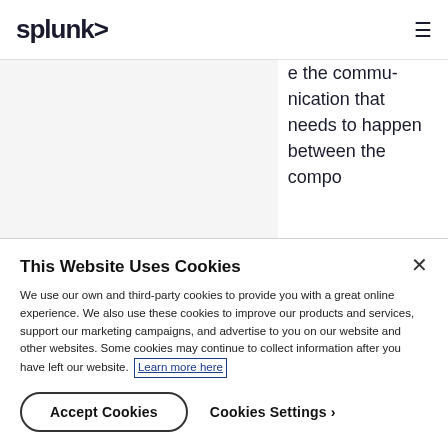splunk>
e the communication that needs to happen between the compo
This Website Uses Cookies
We use our own and third-party cookies to provide you with a great online experience. We also use these cookies to improve our products and services, support our marketing campaigns, and advertise to you on our website and other websites. Some cookies may continue to collect information after you have left our website. Learn more here
Accept Cookies
Cookies Settings ›